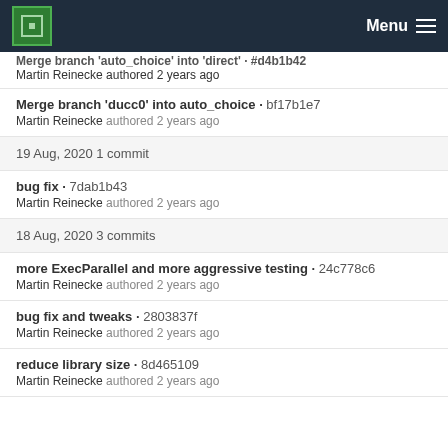MPCDF Menu
Merge branch 'auto_choice' into 'direct' · #d4b1b42
Martin Reinecke authored 2 years ago
Merge branch 'ducc0' into auto_choice · bf17b1e7
Martin Reinecke authored 2 years ago
19 Aug, 2020 1 commit
bug fix · 7dab1b43
Martin Reinecke authored 2 years ago
18 Aug, 2020 3 commits
more ExecParallel and more aggressive testing · 24c778c6
Martin Reinecke authored 2 years ago
bug fix and tweaks · 2803837f
Martin Reinecke authored 2 years ago
reduce library size · 8d465109
Martin Reinecke authored 2 years ago